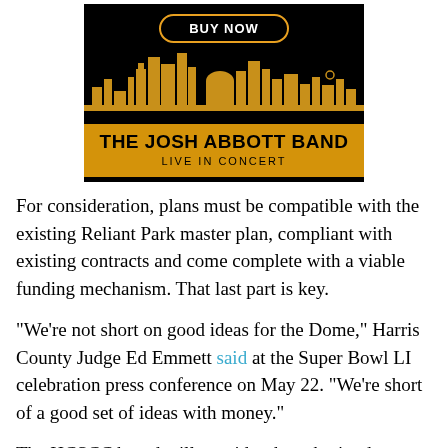[Figure (advertisement): Concert advertisement banner for The Josh Abbott Band Live in Concert with a 'BUY NOW' button at top, city skyline silhouette in gold on black background, and gold/yellow bottom section with band name in bold black text.]
For consideration, plans must be compatible with the existing Reliant Park master plan, compliant with existing contracts and come complete with a viable funding mechanism. That last part is key.
"We're not short on good ideas for the Dome," Harris County Judge Ed Emmett said at the Super Bowl LI celebration press conference on May 22. "We're short of a good set of ideas with money."
The HCSCC board will consider the submitted proposals